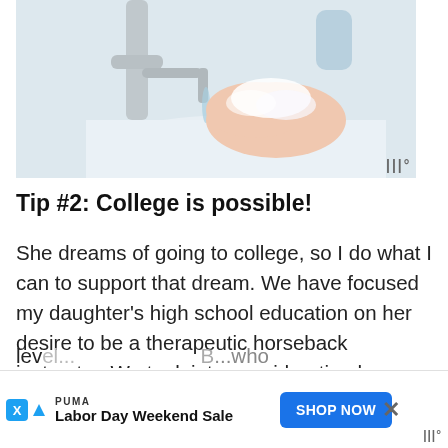[Figure (photo): Person washing hands with soap at a sink with a chrome faucet, water running, soap suds visible on hands]
Tip #2: College is possible!
She dreams of going to college, so I do what I can to support that dream. We have focused my daughter's high school education on her desire to be a therapeutic horseback instructor. We took into consideration her college choice's requirements when planning out her high school courses. This was no easy task because she struggles with math, higher level...
[Figure (infographic): Advertisement banner: PUMA Labor Day Weekend Sale with Shop Now button and close X button. Watermark logo at bottom right.]